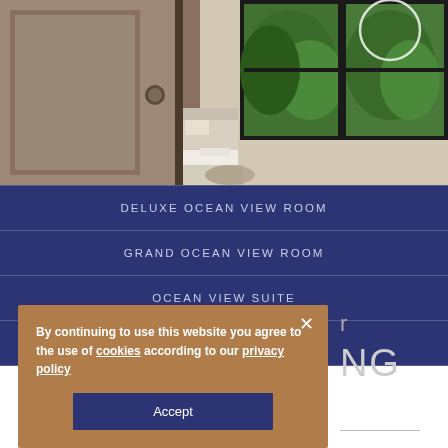[Figure (photo): Hotel room interior showing bathroom on left and bedroom with large windows overlooking greenery on right]
DELUXE OCEAN VIEW ROOM
GRAND OCEAN VIEW ROOM
OCEAN VIEW SUITE
ROYAL OCEAN VIEW SUITE
By continuing to use this website you agree to the use of cookies according to our privacy policy
Accept